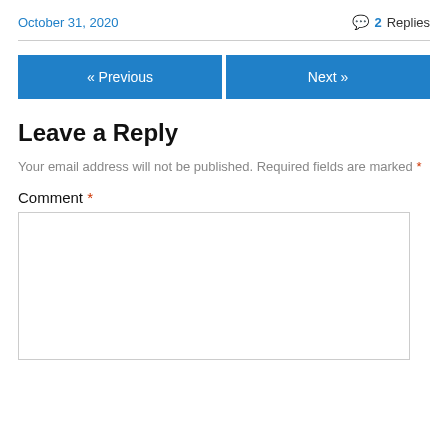October 31, 2020   💬 2 Replies
« Previous   Next »
Leave a Reply
Your email address will not be published. Required fields are marked *
Comment *